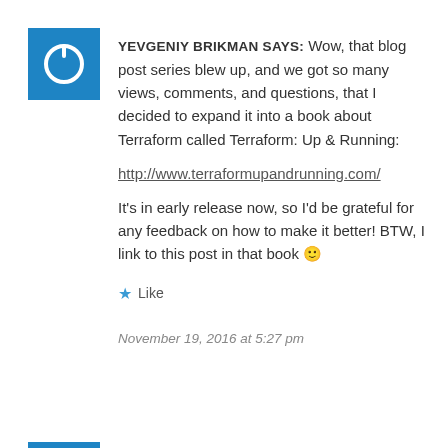[Figure (logo): Blue square avatar with white power/circle icon representing Yevgeniy Brikman's profile picture]
YEVGENIY BRIKMAN SAYS: Wow, that blog post series blew up, and we got so many views, comments, and questions, that I decided to expand it into a book about Terraform called Terraform: Up & Running:
http://www.terraformupandrunning.com/
It's in early release now, so I'd be grateful for any feedback on how to make it better! BTW, I link to this post in that book 🙂
★ Like
November 19, 2016 at 5:27 pm